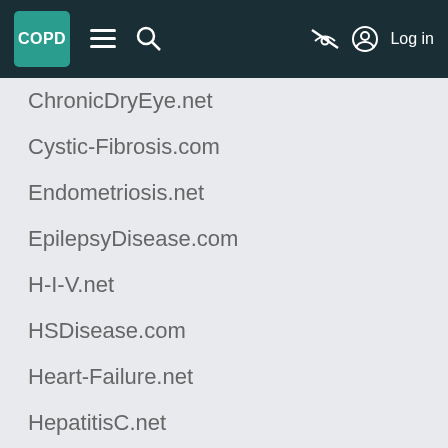COPD navigation bar with logo, menu, search, and log in
ChronicDryEye.net
Cystic-Fibrosis.com
Endometriosis.net
EpilepsyDisease.com
H-I-V.net
HSDisease.com
Heart-Failure.net
HepatitisC.net
InflammatoryBowelDisease.net
IrritableBowelSyndrome.net
LungCancer.net
Lupus.net